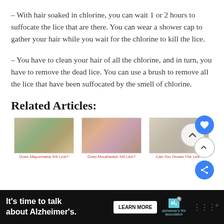– With hair soaked in chlorine, you can wait 1 or 2 hours to suffocate the lice that are there. You can wear a shower cap to gather your hair while you wait for the chlorine to kill the lice.
– You have to clean your hair of all the chlorine, and in turn, you have to remove the dead lice. You can use a brush to remove all the lice that have been suffocated by the smell of chlorine.
Related Articles:
[Figure (photo): Three related article thumbnail images showing close-up photos of lice insects, with red captions below each: 'Does Mayonnaise Kill Lice?', 'Does Mouthwash Kill Lice?', 'Can You Drown The Lice?']
[Figure (other): Advertisement banner: black background with white bold text 'It's time to talk about Alzheimer's.' with a Learn More button and Alzheimer's Association logo.]